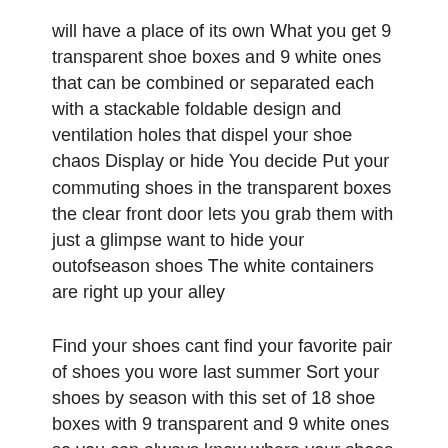will have a place of its own What you get 9 transparent shoe boxes and 9 white ones that can be combined or separated each with a stackable foldable design and ventilation holes that dispel your shoe chaos Display or hide You decide Put your commuting shoes in the transparent boxes the clear front door lets you grab them with just a glimpse want to hide your outofseason shoes The white containers are right up your alley
Find your shoes cant find your favorite pair of shoes you wore last summer Sort your shoes by season with this set of 18 shoe boxes with 9 transparent and 9 white ones so you can always know where your shoes are Stack em up if you want to store the boxes in an organized way the corresponding slot design on the top and bottom makes stacking them a snap ventilation holes let your shoes breathe